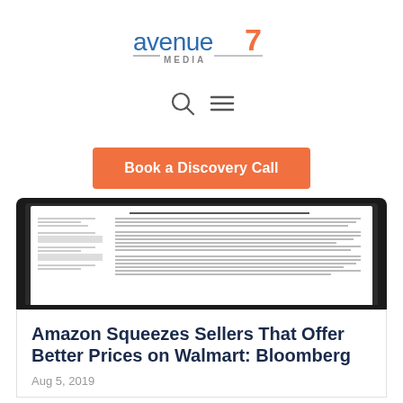[Figure (logo): Avenue 7 Media logo — 'avenue' in blue lowercase, '7' in orange, 'MEDIA' in gray small caps with dashes]
[Figure (other): Search icon (magnifying glass) and hamburger menu icon]
[Figure (other): Orange 'Book a Discovery Call' call-to-action button]
[Figure (screenshot): Laptop/tablet screen showing a document or article page]
Amazon Squeezes Sellers That Offer Better Prices on Walmart: Bloomberg
Aug 5, 2019